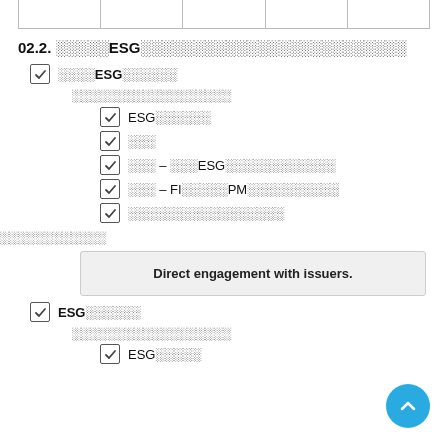|  |  |  |  |  |
| --- | --- | --- | --- | --- |
|   |   |   |   |   |
02.2. ░░░░░ESG░░░░░░░░░░░░░░░░░░░░░░░░░
☑ ░░░░ESG░░░░░░
░░░░░░░░░░░░░░░░░░
☑ ESG░░░░░░
☑ ░░░
☑ ░░░ – ░░░ESG░░░░░░░░░░░░
☑ ░░░ – FI░░░░░PM░░░░░░░░░░
☑ ░░░░░░░░░░░░░░░░░
░░░░░░░░░░░░
Direct engagement with issuers.
☑ ESG░░░░░░
░░░░░░░░░░░░░░░░░░
☑ ESG░░░░░